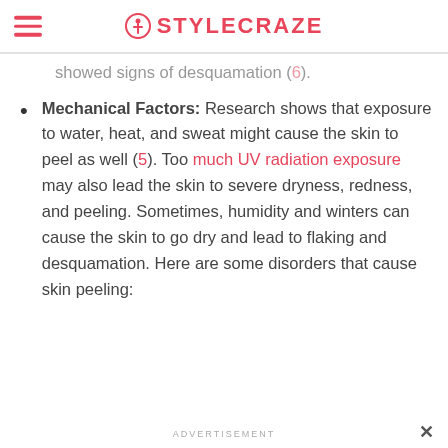STYLECRAZE
showed signs of desquamation (6).
Mechanical Factors: Research shows that exposure to water, heat, and sweat might cause the skin to peel as well (5). Too much UV radiation exposure may also lead the skin to severe dryness, redness, and peeling. Sometimes, humidity and winters can cause the skin to go dry and lead to flaking and desquamation. Here are some disorders that cause skin peeling:
ADVERTISEMENT